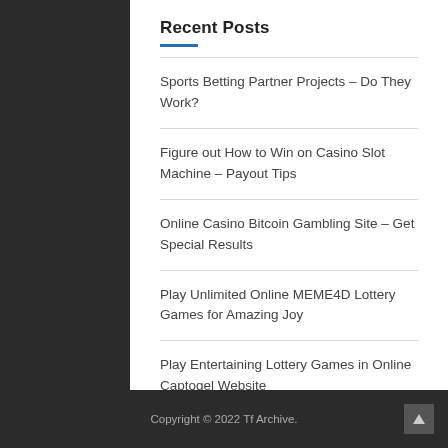Recent Posts
Sports Betting Partner Projects – Do They Work?
Figure out How to Win on Casino Slot Machine – Payout Tips
Online Casino Bitcoin Gambling Site – Get Special Results
Play Unlimited Online MEME4D Lottery Games for Amazing Joy
Play Entertaining Lottery Games in Online Captogel Website
Copyright © 2022 Tf Archive.